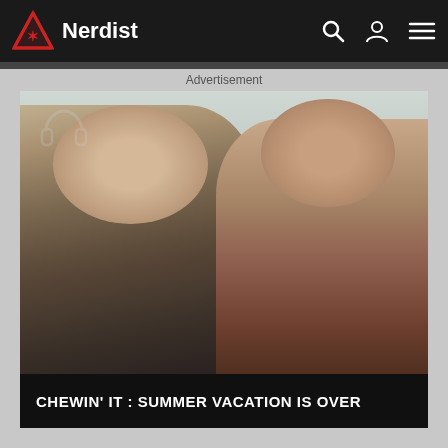Nerdist
Advertisement
[Figure (photo): Two laughing men outdoors near water. The man on the left has long curly hair and wears a yellow/green jacket over a dark shirt with a necklace. The man on the right is shirtless with short dark hair. They have their arms around each other, both laughing openly.]
CHEWIN' IT : SUMMER VACATION IS OVER